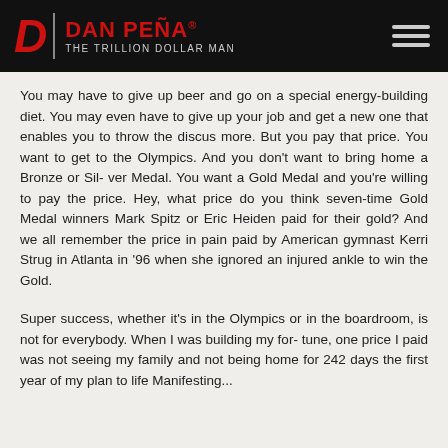DAN PEÑA® — THE TRILLION DOLLAR MAN
You may have to give up beer and go on a special energy-building diet. You may even have to give up your job and get a new one that enables you to throw the discus more. But you pay that price. You want to get to the Olympics. And you don't want to bring home a Bronze or Sil- ver Medal. You want a Gold Medal and you're willing to pay the price. Hey, what price do you think seven-time Gold Medal winners Mark Spitz or Eric Heiden paid for their gold? And we all remember the price in pain paid by American gymnast Kerri Strug in Atlanta in '96 when she ignored an injured ankle to win the Gold.
Super success, whether it's in the Olympics or in the boardroom, is not for everybody. When I was building my for- tune, one price I paid was not seeing my family and not being home for 242 days the first year of my plan to life Manifesting...